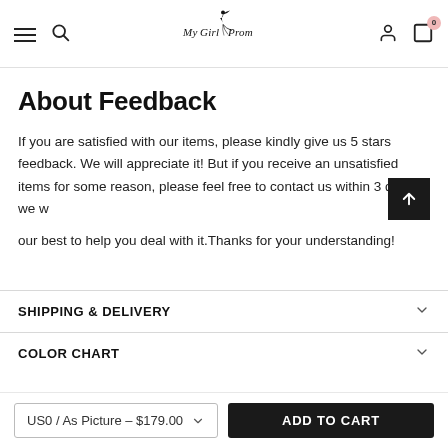MyGirlProm — navigation header with menu, search, logo, account, and cart (0)
About Feedback
If you are satisfied with our items, please kindly give us 5 stars feedback. We will appreciate it! But if you receive an unsatisfied items for some reason, please feel free to contact us within 3 days, we will do our best to help you deal with it.Thanks for your understanding!
SHIPPING & DELIVERY
COLOR CHART
US0 / As Picture – $179.00  ADD TO CART